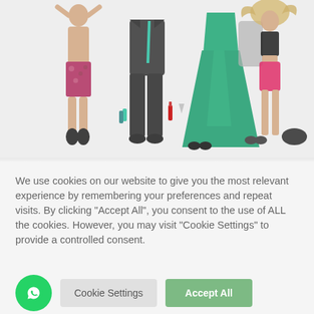[Figure (photo): Fashion photo showing people and clothing laid flat on white background: a shirtless man in printed shorts, a dark suit with teal tie and accessories, a teal/green formal dress with accessories, and a woman in athletic crop top and pink shorts. Various shoes and accessories are displayed around the outfits.]
We use cookies on our website to give you the most relevant experience by remembering your preferences and repeat visits. By clicking “Accept All”, you consent to the use of ALL the cookies. However, you may visit “Cookie Settings” to provide a controlled consent.
Cookie Settings
Accept All